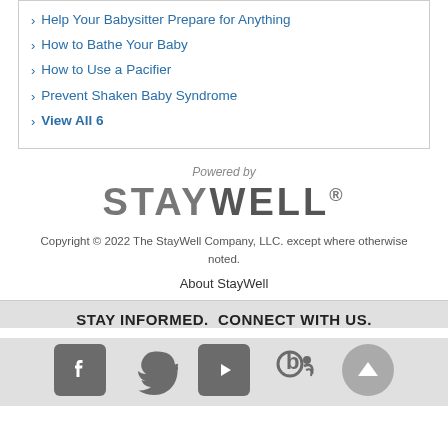Help Your Babysitter Prepare for Anything
How to Bathe Your Baby
How to Use a Pacifier
Prevent Shaken Baby Syndrome
View All 6
Powered by
[Figure (logo): StayWell logo in gray bold uppercase letters with registered trademark symbol]
Copyright © 2022 The StayWell Company, LLC. except where otherwise noted.
About StayWell
STAY INFORMED.  CONNECT WITH US.
[Figure (infographic): Social media icons: Facebook, Twitter, YouTube, Blog/RSS, and scroll-to-top button]